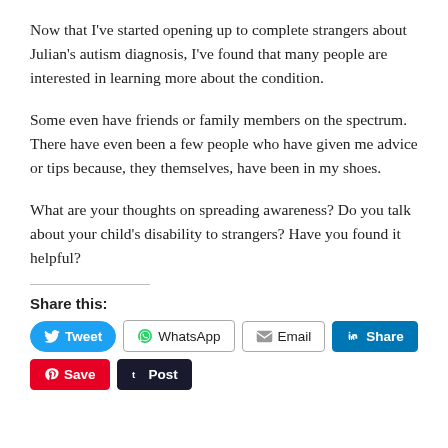Now that I've started opening up to complete strangers about Julian's autism diagnosis, I've found that many people are interested in learning more about the condition.
Some even have friends or family members on the spectrum. There have even been a few people who have given me advice or tips because, they themselves, have been in my shoes.
What are your thoughts on spreading awareness? Do you talk about your child's disability to strangers? Have you found it helpful?
Share this:
Tweet | WhatsApp | Email | Share | Save | Post